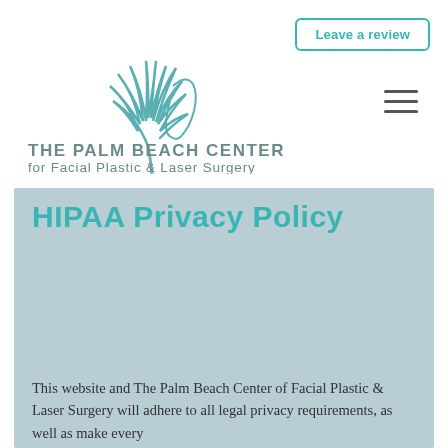Leave a review
[Figure (logo): The Palm Beach Center for Facial Plastic & Laser Surgery logo with palm tree and face silhouette graphic above the text]
[Figure (other): Hamburger menu icon (three horizontal lines)]
HIPAA Privacy Policy
This website and The Palm Beach Center of Facial Plastic & Laser Surgery will adhere to all legal privacy requirements, as well as make every